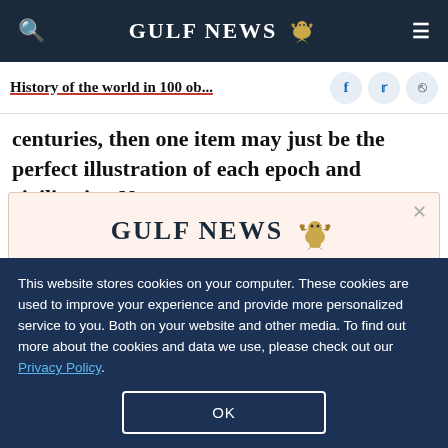GULF NEWS
History of the world in 100 ob...
centuries, then one item may just be the perfect illustration of each epoch and civilisation N
[Figure (logo): Gulf News logo with eagle emblem]
A special offer for our readers
Get the two years All-Access subscription now
This website stores cookies on your computer. These cookies are used to improve your experience and provide more personalized service to you. Both on your website and other media. To find out more about the cookies and data we use, please check out our Privacy Policy.
OK